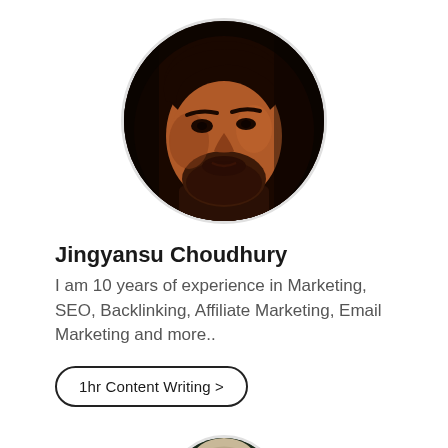[Figure (photo): Circular profile photo of Jingyansu Choudhury, a man with dark hair and beard, dark reddish-brown toned photo against black background]
Jingyansu Choudhury
I am 10 years of experience in Marketing, SEO, Backlinking, Affiliate Marketing, Email Marketing and more..
1hr Content Writing >
[Figure (photo): Circular profile photo of a second person, partially visible at the bottom of the page, woman with light hair against a dark background]